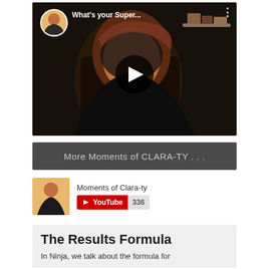[Figure (screenshot): YouTube video thumbnail showing a woman with red-brown hair in a dark setting, with a play button overlay. Channel avatar and title 'What's your Super...' visible at top.]
More Moments of CLARA-TY . . .
[Figure (screenshot): Channel thumbnail showing woman in black jacket on yellow background]
Moments of Clara-ty
[Figure (logo): YouTube subscribe button with play icon and subscriber count 336]
The Results Formula
In Ninja, we talk about the formula for